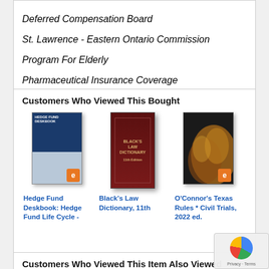Deferred Compensation Board
St. Lawrence - Eastern Ontario Commission
Program For Elderly
Pharmaceutical Insurance Coverage
Temporary State Commission On Local Government Ethics
Customers Who Viewed This Bought
[Figure (photo): Book cover: Hedge Fund Deskbook: Hedge Fund Life Cycle]
Hedge Fund Deskbook: Hedge Fund Life Cycle -
[Figure (photo): Book cover: Black's Law Dictionary, 11th]
Black's Law Dictionary, 11th
[Figure (photo): Book cover: O'Connor's Texas Rules * Civil Trials, 2022 ed.]
O'Connor's Texas Rules * Civil Trials, 2022 ed.
Customers Who Viewed This Item Also Viewed